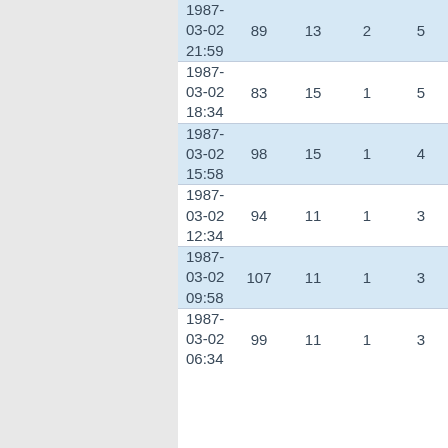| datetime | col1 | col2 | col3 | col4 |
| --- | --- | --- | --- | --- |
| 1987-03-02 21:59 | 89 | 13 | 2 | 5 |
| 1987-03-02 18:34 | 83 | 15 | 1 | 5 |
| 1987-03-02 15:58 | 98 | 15 | 1 | 4 |
| 1987-03-02 12:34 | 94 | 11 | 1 | 3 |
| 1987-03-02 09:58 | 107 | 11 | 1 | 3 |
| 1987-03-02 06:34 | 99 | 11 | 1 | 3 |